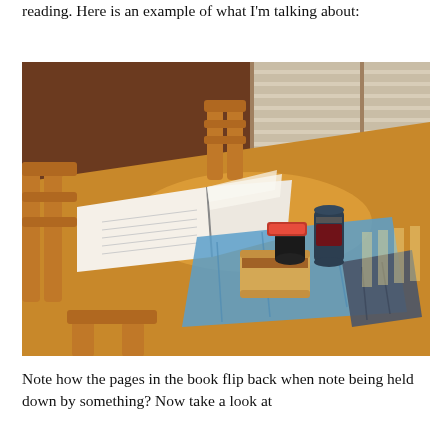reading. Here is an example of what I'm talking about:
[Figure (photo): A wooden dining table with an open book whose pages are flipping back, a blue plastic bag/mat with a sandwich on it, a candy bar, a small jar, a soda can, and what appears to be jeans or cloth. Wooden chairs surround the table, and window shutters are visible in the background with sunlight coming through.]
Note how the pages in the book flip back when note being held down by something? Now take a look at